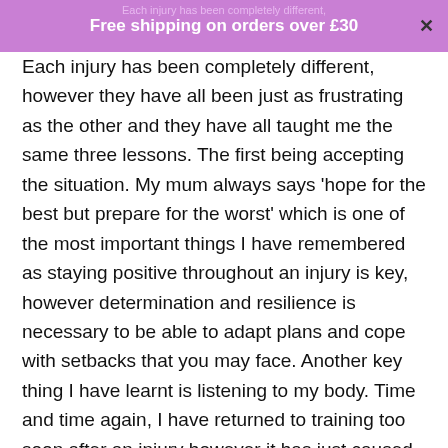Free shipping on orders over £30
Each injury has been completely different, however they have all been just as frustrating as the other and they have all taught me the same three lessons. The first being accepting the situation. My mum always says 'hope for the best but prepare for the worst' which is one of the most important things I have remembered as staying positive throughout an injury is key, however determination and resilience is necessary to be able to adapt plans and cope with setbacks that you may face. Another key thing I have learnt is listening to my body. Time and time again, I have returned to training too soon after an injury however it has just caused additional, and